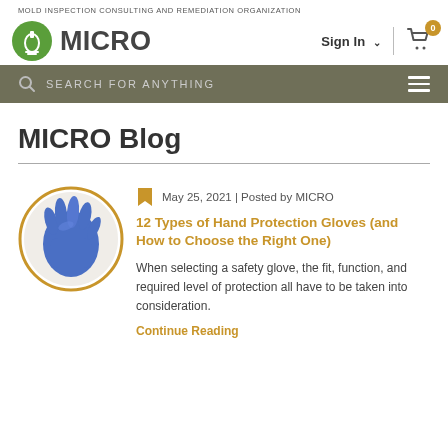MOLD INSPECTION CONSULTING AND REMEDIATION ORGANIZATION
[Figure (logo): MICRO logo with green circle containing microscope icon and MICRO text]
[Figure (screenshot): Navigation bar with Sign In dropdown and shopping cart with 0 items badge]
[Figure (screenshot): Search bar with search icon and SEARCH FOR ANYTHING placeholder text and hamburger menu]
MICRO Blog
[Figure (photo): Photo of blue protective glove in circular orange-outlined frame]
May 25, 2021 | Posted by MICRO
12 Types of Hand Protection Gloves (and How to Choose the Right One)
When selecting a safety glove, the fit, function, and required level of protection all have to be taken into consideration.
Continue Reading